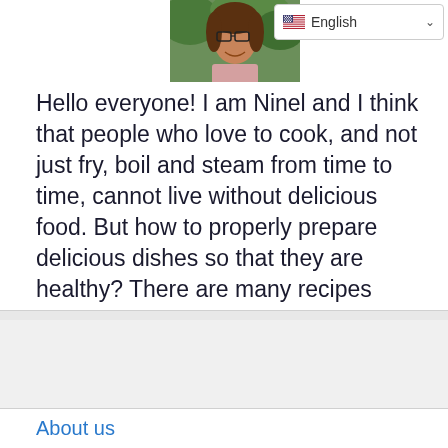[Figure (photo): Portrait photo of a smiling woman with glasses and dark hair, outdoors with green background]
Hello everyone! I am Ninel and I think that people who love to cook, and not just fry, boil and steam from time to time, cannot live without delicious food. But how to properly prepare delicious dishes so that they are healthy? There are many recipes online, but I want to share a few with you.
About us
Contact